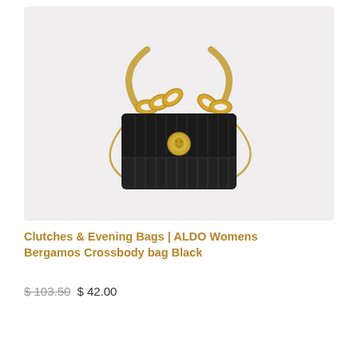[Figure (photo): Black quilted crossbody bag (ALDO Bergamos) with large gold chain strap and gold lion head medallion clasp, displayed on a light gray background.]
Clutches & Evening Bags | ALDO Womens Bergamos Crossbody bag Black
$ 103.50 $ 42.00
Add to cart